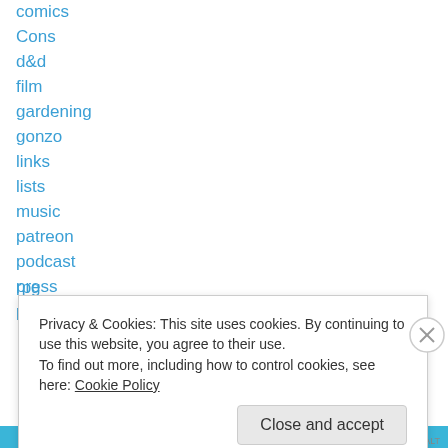comics
Cons
d&d
film
gardening
gonzo
links
lists
music
patreon
podcast
press
process
Privacy & Cookies: This site uses cookies. By continuing to use this website, you agree to their use.
To find out more, including how to control cookies, see here: Cookie Policy
Close and accept